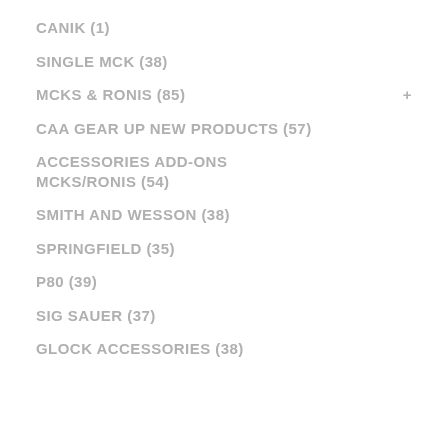CANIK (1)
SINGLE MCK (38)
MCKS & RONIS (85)
CAA GEAR UP NEW PRODUCTS (57)
ACCESSORIES ADD-ONS MCKS/RONIS (54)
SMITH AND WESSON (38)
SPRINGFIELD (35)
P80 (39)
SIG SAUER (37)
GLOCK ACCESSORIES (38)